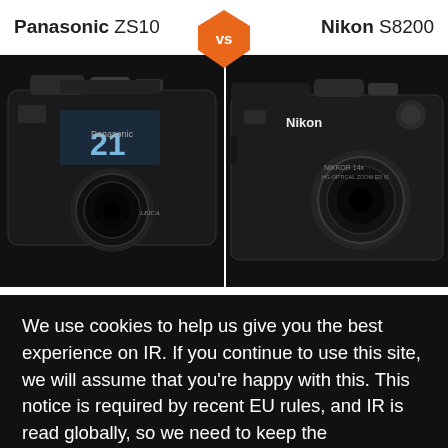Panasonic ZS10 vs Nikon S8200
[Figure (photo): Panasonic ZS10 camera (black, front view) on the left side]
[Figure (photo): Nikon S8200 camera (black, front view) on the right side]
We use cookies to help us give you the best experience on IR. If you continue to use this site, we will assume that you’re happy with this. This notice is required by recent EU rules, and IR is read globally, so we need to keep the bureaucrats off our case!
Learn more
Got it!
Panasonic ZX400 /S                    Nikon S8200